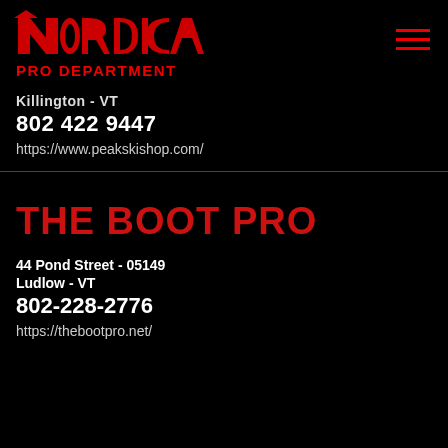[Figure (logo): Nordica logo in red with stylized N and PRO DEPARTMENT text below]
Killington - VT
802 422 9447
https://www.peakskishop.com/
THE BOOT PRO
44 Pond Street - 05149
Ludlow - VT
802-228-2776
https://thebootpro.net/